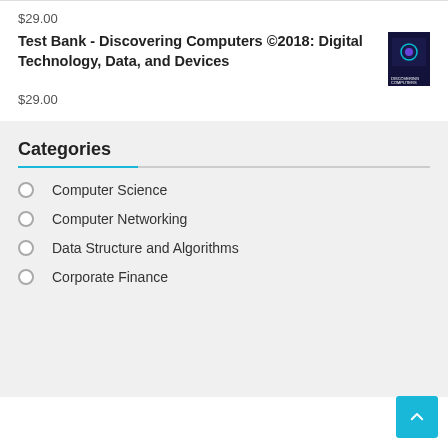$29.00
Test Bank - Discovering Computers ©2018: Digital Technology, Data, and Devices
$29.00
Categories
Computer Science
Computer Networking
Data Structure and Algorithms
Corporate Finance